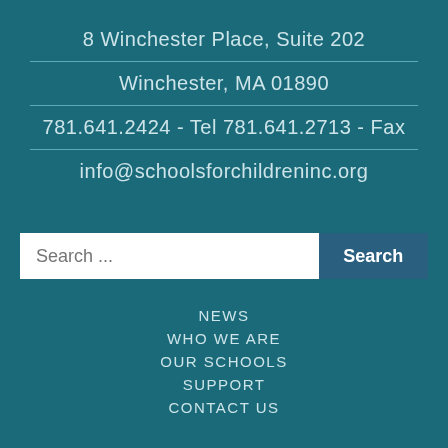8 Winchester Place, Suite 202
Winchester, MA 01890
781.641.2424 - Tel 781.641.2713 - Fax
info@schoolsforchildreninc.org
[Figure (other): Search bar with text input field showing 'Search ...' placeholder and a 'Search' button]
NEWS
WHO WE ARE
OUR SCHOOLS
SUPPORT
CONTACT US